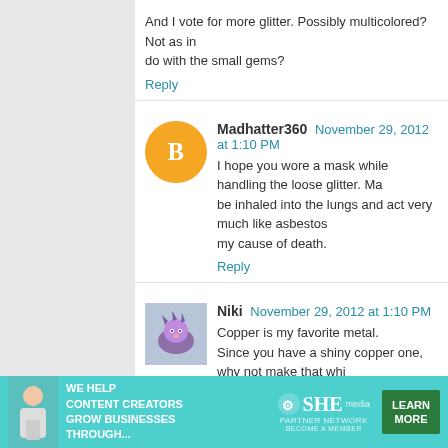And I vote for more glitter. Possibly multicolored? Not as in do with the small gems?
Reply
Madhatter360  November 29, 2012 at 1:10 PM
I hope you wore a mask while handling the loose glitter. Ma be inhaled into the lungs and act very much like asbestos my cause of death.
Reply
Niki  November 29, 2012 at 1:10 PM
Copper is my favorite metal.
Since you have a shiny copper one, why not make that whi
Reply
Tonya  November 29, 2012 at 1:29 PM
I was really hoping those nutcrackers would somehow t
ROBOT NUTCRACKER WILL DESTROY YOUR RO
[Figure (infographic): Advertisement banner for SHE media Partner Network with teal background, text 'WE HELP CONTENT CREATORS GROW BUSINESSES THROUGH...' and a green 'LEARN MORE' button]